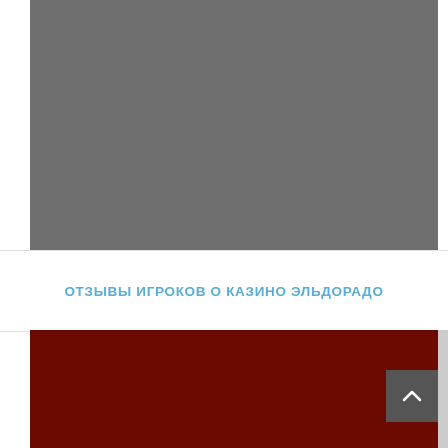[Figure (photo): Gray background image, top section of webpage]
ОТЗЫВЫ ИГРОКОВ О КАЗИНО ЭЛЬДОРАДО
[Figure (photo): Dark red/maroon background image, bottom section of webpage with scroll-to-top button]